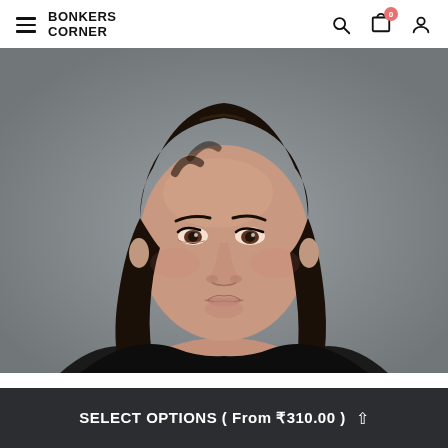BONKERS CORNER — navigation header with hamburger menu, search, cart (0), and account icons
[Figure (photo): Close-up portrait of a young woman with dark shoulder-length hair against a grey background, looking slightly upward]
SELECT OPTIONS ( From ₹310.00 ) ^